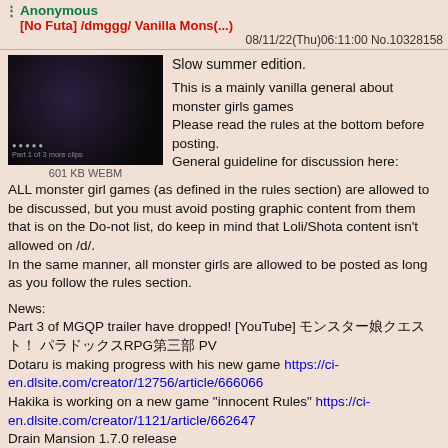Anonymous
[No Futa] /dmggg/ Vanilla Mons(...)
08/11/22(Thu)06:11:00 No.10328158
[Figure (screenshot): Small dark video thumbnail, appears to be a game screenshot with dark tones]
601 KB WEBM
Slow summer edition.

This is a mainly vanilla general about monster girls games
Please read the rules at the bottom before posting.
General guideline for discussion here:
ALL monster girl games (as defined in the rules section) are allowed to be discussed, but you must avoid posting graphic content from them that is on the Do-not list, do keep in mind that Loli/Shota content isn't allowed on /d/.
In the same manner, all monster girls are allowed to be posted as long as you follow the rules section.
News:
Part 3 of MGQP trailer have dropped! [YouTube] モンスター娘クエスト！ パラドックスRPG第三部 PV
Dotaru is making progress with his new game https://ci-en.dlsite.com/creator/12756/article/666066
Hakika is working on a new game "innocent Rules" https://ci-en.dlsite.com/creator/1121/article/662647
Drain Mansion 1.7.0 release https://twitter.com/kredynthereal/status/1551269531552808962